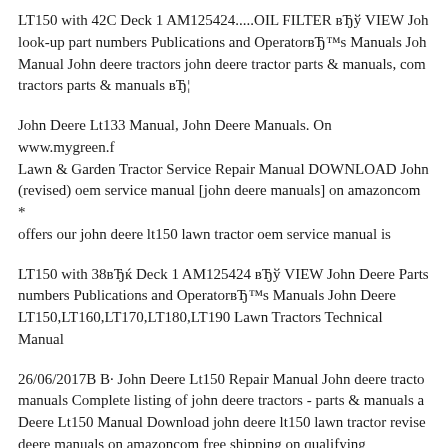LT150 with 42C Deck 1 AM125424.....OIL FILTER вЂў VIEW John look-up part numbers Publications and OperatorвЂ™s Manuals John Manual John deere tractors john deere tractor parts & manuals, comp tractors parts & manuals вЂ¦
John Deere Lt133 Manual, John Deere Manuals. On www.mygreen.f Lawn & Garden Tractor Service Repair Manual DOWNLOAD John (revised) oem service manual [john deere manuals] on amazoncom * offers our john deere lt150 lawn tractor oem service manual is
LT150 with 38вЂќ Deck 1 AM125424 вЂў VIEW John Deere Parts numbers Publications and OperatorвЂ™s Manuals John Deere LT150,LT160,LT170,LT180,LT190 Lawn Tractors Technical Manual
26/06/2017В В· John Deere Lt150 Repair Manual John deere tractor manuals Complete listing of john deere tractors - parts & manuals an Deere Lt150 Manual Download john deere lt150 lawn tractor revised deere manuals on amazoncom free shipping on qualifying